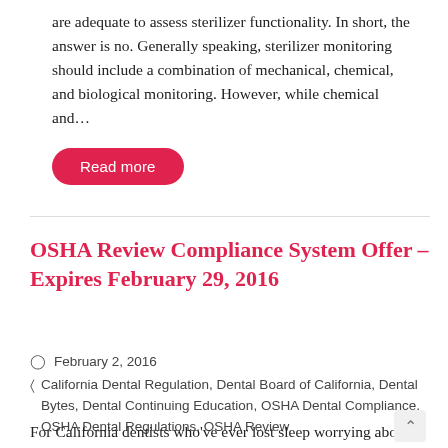are adequate to assess sterilizer functionality. In short, the answer is no. Generally speaking, sterilizer monitoring should include a combination of mechanical, chemical, and biological monitoring. However, while chemical and…
Read more
OSHA Review Compliance System Offer – Expires February 29, 2016
February 2, 2016
California Dental Regulation, Dental Board of California, Dental Bytes, Dental Continuing Education, OSHA Dental Compliance, OSHA Dental Regulations, OSHA Review
For California dentists who've ever lost sleep worrying about compliance with the latest Dental Board…